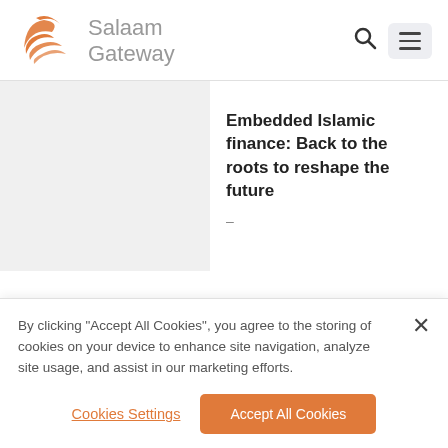Salaam Gateway
[Figure (illustration): Gray placeholder image for article thumbnail]
Embedded Islamic finance: Back to the roots to reshape the future
By clicking “Accept All Cookies”, you agree to the storing of cookies on your device to enhance site navigation, analyze site usage, and assist in our marketing efforts.
Cookies Settings | Accept All Cookies